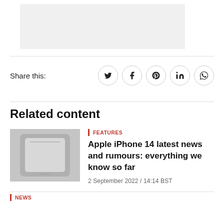[Figure (other): Advertisement placeholder banner, light grey background]
Share this:
[Figure (other): Social sharing icons: Twitter, Facebook, Pinterest, LinkedIn, WhatsApp — each in a circle border]
Related content
[Figure (photo): Thumbnail photo of Apple iPhone, grey/silver device close-up]
FEATURES
Apple iPhone 14 latest news and rumours: everything we know so far
2 September 2022 / 14:14 BST
NEWS